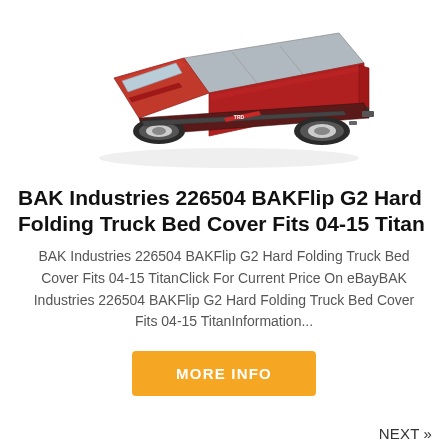[Figure (photo): Red pickup truck (Toyota Tundra TRD) with a BAKFlip G2 hard folding truck bed cover, viewed from rear-left angle on white background]
BAK Industries 226504 BAKFlip G2 Hard Folding Truck Bed Cover Fits 04-15 Titan
BAK Industries 226504 BAKFlip G2 Hard Folding Truck Bed Cover Fits 04-15 TitanClick For Current Price On eBayBAK Industries 226504 BAKFlip G2 Hard Folding Truck Bed Cover Fits 04-15 TitanInformation...
MORE INFO
NEXT »